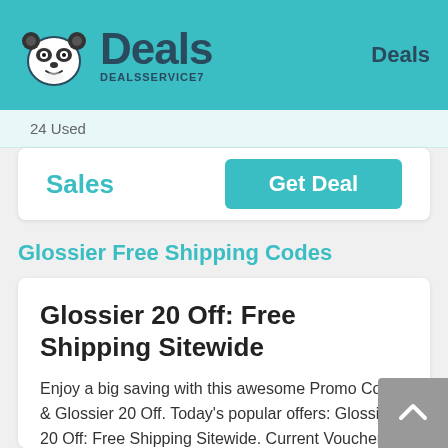Deals DEALSSERVICE7 | Deals
24 Used
Sales
Get Deal
Glossier Free Shipping Codes
Glossier 20 Off: Free Shipping Sitewide
Enjoy a big saving with this awesome Promo Code & Glossier 20 Off. Today's popular offers: Glossier 20 Off: Free Shipping Sitewide. Current Voucher Code and soon!